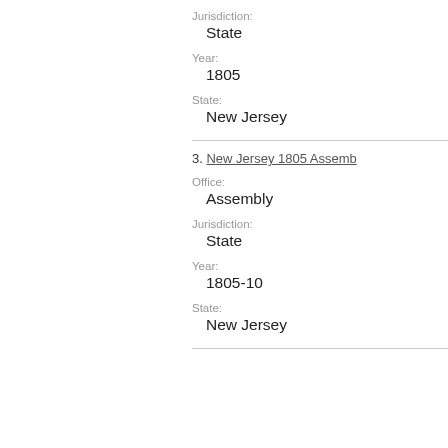Jurisdiction:
State
Year:
1805
State:
New Jersey
3. New Jersey 1805 Assemb...
Office:
Assembly
Jurisdiction:
State
Year:
1805-10
State:
New Jersey